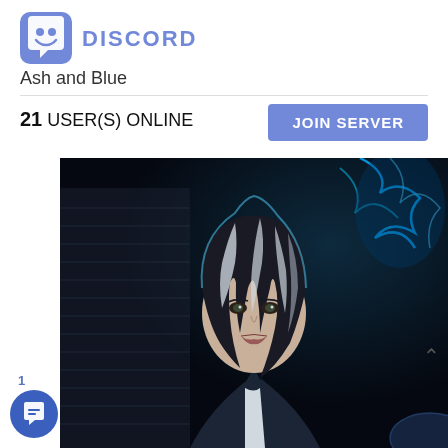[Figure (logo): Discord logo: blue speech bubble with game controller / ghost icon]
DISCORD
Ash and Blue
21 USER(S) ONLINE
JOIN SERVER
[Figure (illustration): Digital art illustration of a woman with dark hair featuring white/silver highlights, wearing a suit. Background shows futuristic buildings on the left and blue lightning/electricity effects on a dark space scene on the right.]
1